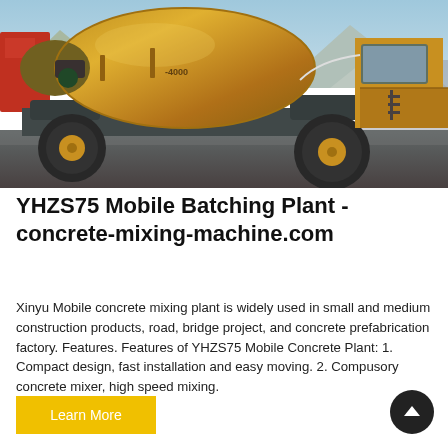[Figure (photo): Yellow self-loading concrete mixer truck / mobile batching plant parked on a dark surface with mountains and blue sky in background. A red truck is partially visible on the left.]
YHZS75 Mobile Batching Plant - concrete-mixing-machine.com
Xinyu Mobile concrete mixing plant is widely used in small and medium construction products, road, bridge project, and concrete prefabrication factory. Features. Features of YHZS75 Mobile Concrete Plant: 1. Compact design, fast installation and easy moving. 2. Compusory concrete mixer, high speed mixing.
Learn More